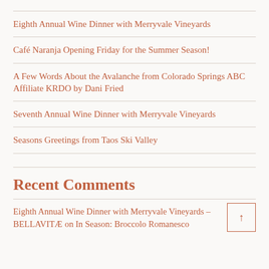Eighth Annual Wine Dinner with Merryvale Vineyards
Café Naranja Opening Friday for the Summer Season!
A Few Words About the Avalanche from Colorado Springs ABC Affiliate KRDO by Dani Fried
Seventh Annual Wine Dinner with Merryvale Vineyards
Seasons Greetings from Taos Ski Valley
Recent Comments
Eighth Annual Wine Dinner with Merryvale Vineyards – BELLAVITÆ on In Season: Broccolo Romanesco